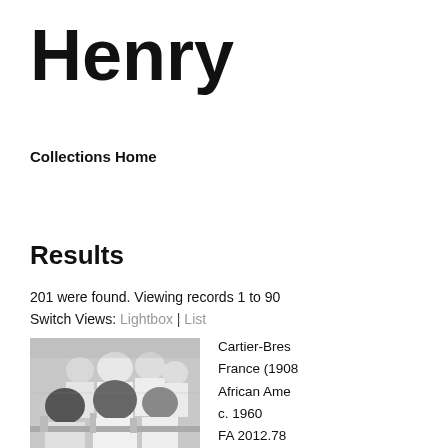Henry
Collections Home
Results
201 were found. Viewing records 1 to 90
Switch Views: Lightbox | List
[Figure (photo): Black and white photograph of African American men in white lab coats working in what appears to be a laboratory or science classroom setting, c. 1960]
Cartier-Bres
France (1908
African Ame
c. 1960
FA 2012.78
View